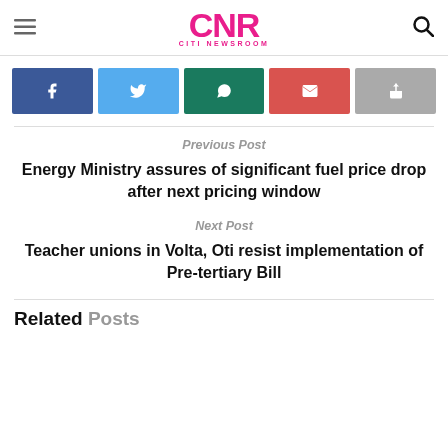CNR CITI NEWSROOM
[Figure (other): Social share buttons row: Facebook (blue), Twitter (light blue), WhatsApp (teal), Email (red), Share (grey)]
Previous Post
Energy Ministry assures of significant fuel price drop after next pricing window
Next Post
Teacher unions in Volta, Oti resist implementation of Pre-tertiary Bill
Related Posts